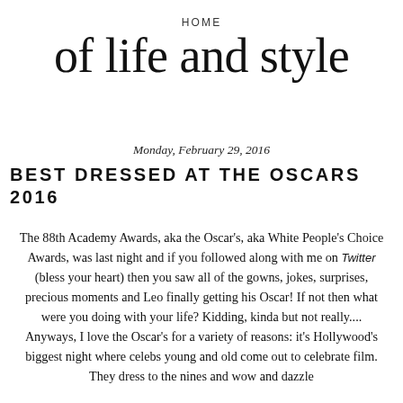HOME
of life and style
Monday, February 29, 2016
BEST DRESSED AT THE OSCARS 2016
The 88th Academy Awards, aka the Oscar's, aka White People's Choice Awards, was last night and if you followed along with me on Twitter (bless your heart) then you saw all of the gowns, jokes, surprises, precious moments and Leo finally getting his Oscar! If not then what were you doing with your life? Kidding, kinda but not really.... Anyways, I love the Oscar's for a variety of reasons: it's Hollywood's biggest night where celebs young and old come out to celebrate film. They dress to the nines and wow and dazzle